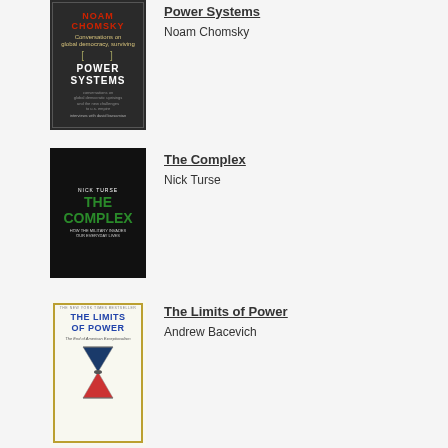[Figure (illustration): Book cover of Power Systems by Noam Chomsky - dark background with red title text and bracketed subtitle]
Power Systems
Noam Chomsky
[Figure (illustration): Book cover of The Complex by Nick Turse - dark/black background with green title text and military imagery]
The Complex
Nick Turse
[Figure (illustration): Book cover of The Limits of Power by Andrew Bacevich - light background with blue title text and hourglass image]
The Limits of Power
Andrew Bacevich